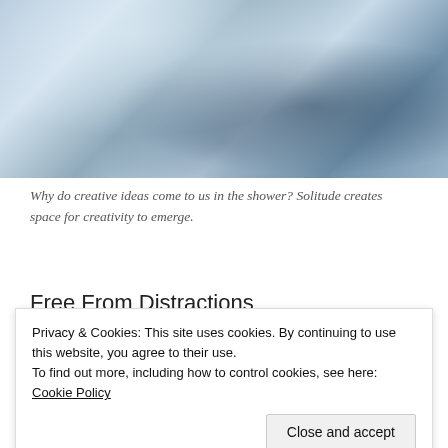[Figure (photo): Close-up photo of water droplets or ice/frost on a surface, with a blue-grey tonal palette suggesting a shower or wet glass surface.]
Why do creative ideas come to us in the shower? Solitude creates space for creativity to emerge.
Free From Distractions
Privacy & Cookies: This site uses cookies. By continuing to use this website, you agree to their use.
To find out more, including how to control cookies, see here: Cookie Policy
Close and accept
Free from distractions, the brain gathers thoughts and